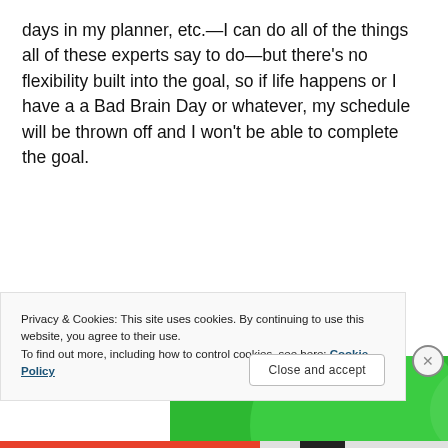days in my planner, etc.—I can do all of the things all of these experts say to do—but there's no flexibility built into the goal, so if life happens or I have a a Bad Brain Day or whatever, my schedule will be thrown off and I won't be able to complete the goal.
[Figure (illustration): Green advertisement banner with text 'We guard your WordPress site. You run your business.' on a green background with decorative circles and notched corners.]
Privacy & Cookies: This site uses cookies. By continuing to use this website, you agree to their use.
To find out more, including how to control cookies, see here: Cookie Policy
Close and accept